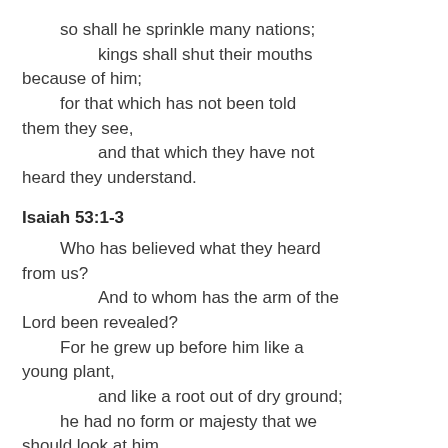so shall he sprinkle many nations;
    kings shall shut their mouths because of him;
  for that which has not been told them they see,
        and that which they have not heard they understand.
Isaiah 53:1-3
Who has believed what they heard from us?
        And to whom has the arm of the Lord been revealed?
    For he grew up before him like a young plant,
        and like a root out of dry ground;
    he had no form or majesty that we should look at him,
        and no beauty that we should